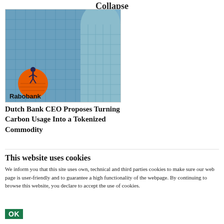Collapse
[Figure (photo): Rabobank building exterior with glass facade and Rabobank logo sign]
Dutch Bank CEO Proposes Turning Carbon Usage Into a Tokenized Commodity
This website uses cookies
We inform you that this site uses own, technical and third parties cookies to make sure our web page is user-friendly and to guarantee a high functionality of the webpage. By continuing to browse this website, you declare to accept the use of cookies.
OK